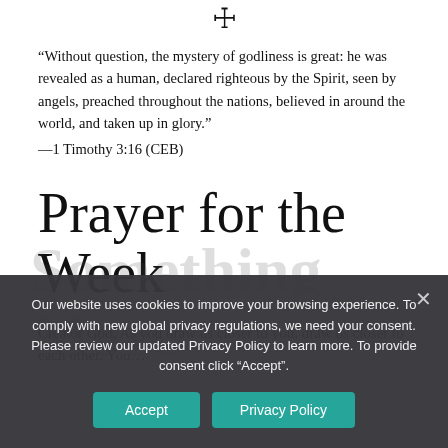[Figure (illustration): Small decorative icon/symbol at top center of page]
“Without question, the mystery of godliness is great: he was revealed as a human, declared righteous by the Spirit, seen by angels, preached throughout the nations, believed in around the world, and taken up in glory.”
—1 Timothy 3:16 (CEB)
Prayer for the Week
Creator God, As you draw us closer to you, draw us closer to each other. You…
Our website uses cookies to improve your browsing experience. To comply with new global privacy regulations, we need your consent. Please review our updated Privacy Policy to learn more. To provide consent click “Accept”.